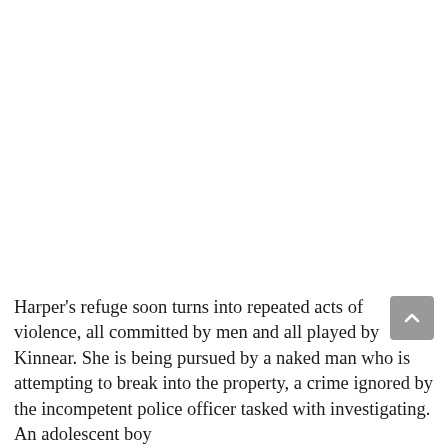Harper's refuge soon turns into repeated acts of violence, all committed by men and all played by Kinnear. She is being pursued by a naked man who is attempting to break into the property, a crime ignored by the incompetent police officer tasked with investigating. An adolescent boy